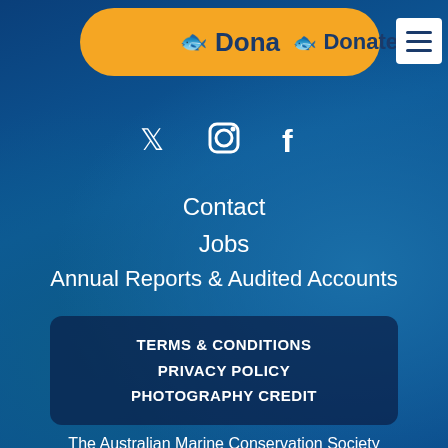Donate
[Figure (screenshot): Social media icons: Twitter bird, Instagram camera, Facebook F — white icons on dark blue background]
Contact
Jobs
Annual Reports & Audited Accounts
TERMS & CONDITIONS
PRIVACY POLICY
PHOTOGRAPHY CREDIT
The Australian Marine Conservation Society acknowledges the Traditional Custodians of this land and sea country, and pay our respects to their Elders past and present. We acknowledge that this land and sea was and always will be Aboriginal land and sea.